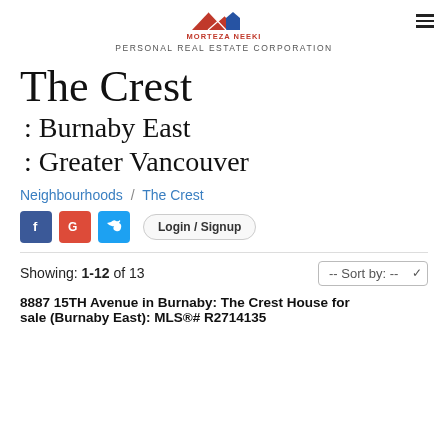MORTEZA NEEKI PERSONAL REAL ESTATE CORPORATION
The Crest
: Burnaby East
: Greater Vancouver
Neighbourhoods / The Crest
Showing: 1-12 of 13
8887 15TH Avenue in Burnaby: The Crest House for sale (Burnaby East): MLS®# R2714135